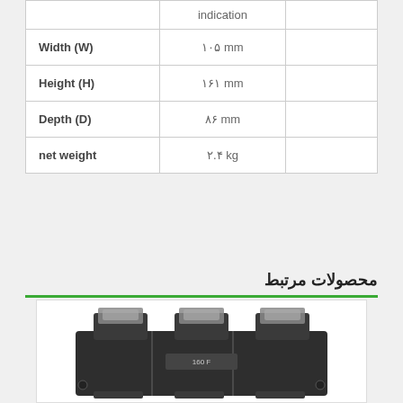|  | indication |  |
| --- | --- | --- |
| Width (W) | ۱۰۵ mm |  |
| Height (H) | ۱۶۱ mm |  |
| Depth (D) | ۸۶ mm |  |
| net weight | ۲.۴ kg |  |
محصولات مرتبط
[Figure (photo): Industrial molded case circuit breaker (MCCB) - three-pole, dark grey/black body with silver-colored terminal connections on top]